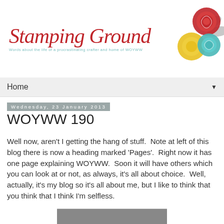[Figure (logo): Stamping Ground blog header logo with cursive red text reading 'Stamping Ground', teal subtitle 'Words about the life of a procrastinating crafter and home of WOYWW', and decorative flower illustration with red, yellow, teal and grey swirl flowers on the right]
Home ▼
Wednesday, 23 January 2013
WOYWW 190
Well now, aren't I getting the hang of stuff.  Note at left of this blog there is now a heading marked 'Pages'.  Right now it has one page explaining WOYWW.  Soon it will have others which you can look at or not, as always, it's all about choice.  Well, actually, it's my blog so it's all about me, but I like to think that you think that I think I'm selfless.
[Figure (photo): Partial photo visible at bottom of page]